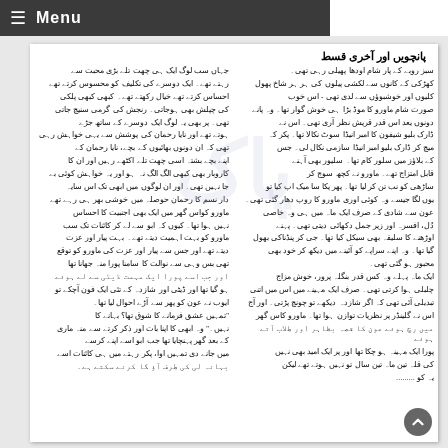Menu
پانچویں اور آخری قسط
Right column Urdu text — literary prose in Urdu (Nastaliq script)
Left column Urdu text — literary prose in Urdu (Nastaliq script)